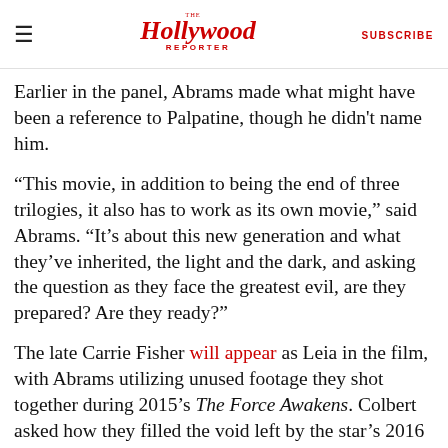The Hollywood Reporter | SUBSCRIBE
Earlier in the panel, Abrams made what might have been a reference to Palpatine, though he didn't name him.
“This movie, in addition to being the end of three trilogies, it also has to work as its own movie,” said Abrams. “It’s about this new generation and what they’ve inherited, the light and the dark, and asking the question as they face the greatest evil, are they prepared? Are they ready?”
The late Carrie Fisher will appear as Leia in the film, with Abrams utilizing unused footage they shot together during 2015’s The Force Awakens. Colbert asked how they filled the void left by the star’s 2016 death.